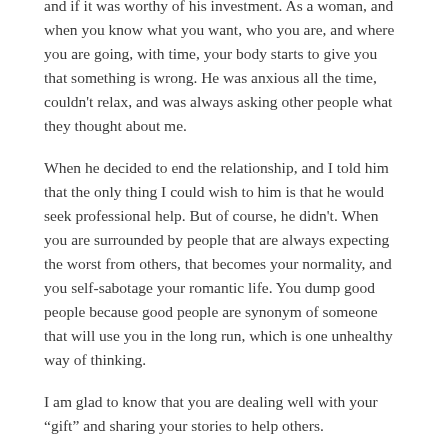and if it was worthy of his investment. As a woman, and when you know what you want, who you are, and where you are going, with time, your body starts to give you that something is wrong. He was anxious all the time, couldn't relax, and was always asking other people what they thought about me.
When he decided to end the relationship, and I told him that the only thing I could wish to him is that he would seek professional help. But of course, he didn't. When you are surrounded by people that are always expecting the worst from others, that becomes your normality, and you self-sabotage your romantic life. You dump good people because good people are synonym of someone that will use you in the long run, which is one unhealthy way of thinking.
I am glad to know that you are dealing well with your “gift” and sharing your stories to help others.